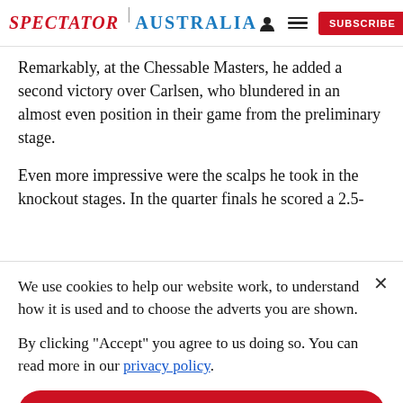SPECTATOR | AUSTRALIA
Remarkably, at the Chessable Masters, he added a second victory over Carlsen, who blundered in an almost even position in their game from the preliminary stage.
Even more impressive were the scalps he took in the knockout stages. In the quarter finals he scored a 2.5-
We use cookies to help our website work, to understand how it is used and to choose the adverts you are shown.
By clicking "Accept" you agree to us doing so. You can read more in our privacy policy.